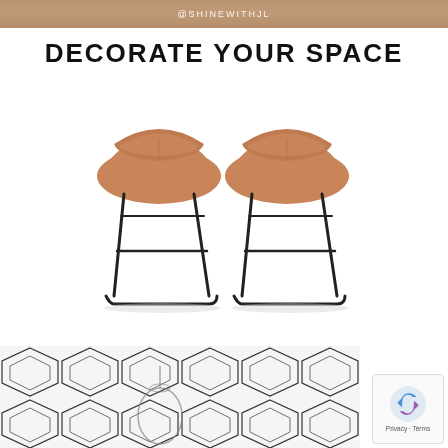[Figure (photo): Top banner showing partial image with @SHINEWITHJL text overlay]
DECORATE YOUR SPACE
[Figure (photo): Two tan/cognac faux leather bar stools with black metal sled legs, shown as a pair on white background]
[Figure (photo): Bottom partial image showing geometric diamond/hexagon tile pattern with decorative item]
[Figure (other): Google reCAPTCHA badge with Privacy and Terms links]